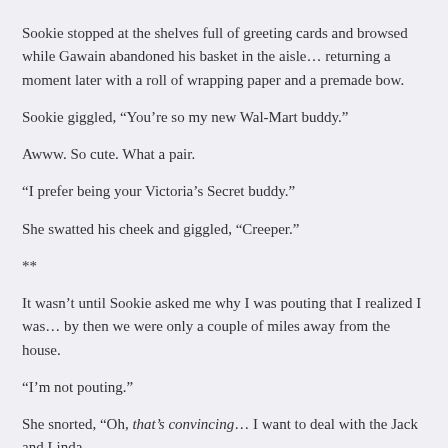Sookie stopped at the shelves full of greeting cards and browsed while Gawain abandoned his basket in the aisle… returning a moment later with a roll of wrapping paper and a premade bow.
Sookie giggled, “You’re so my new Wal-Mart buddy.”
Awww. So cute. What a pair.
“I prefer being your Victoria’s Secret buddy.”
She swatted his cheek and giggled, “Creeper.”
**
It wasn’t until Sookie asked me why I was pouting that I realized I was… by then we were only a couple of miles away from the house.
“I’m not pouting.”
She snorted, “Oh, that’s convincing… I want to deal with the Jack and Linda